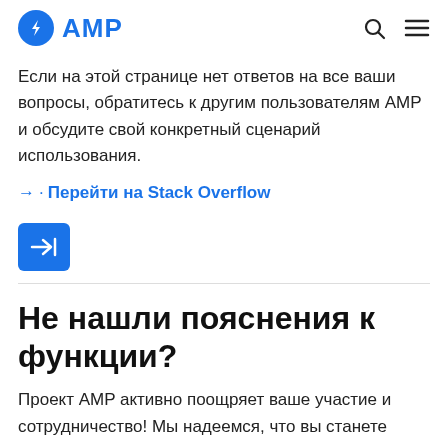AMP
Если на этой странице нет ответов на все ваши вопросы, обратитесь к другим пользователям AMP и обсудите свой конкретный сценарий использования.
→· Перейти на Stack Overflow
[Figure (other): Blue navigation button with right-arrow and vertical bar icon]
Не нашли пояснения к функции?
Проект AMP активно поощряет ваше участие и сотрудничество! Мы надеемся, что вы станете постоянным участником нашего открытого сообщества, но разовые вклады в работу над задачами, которые вам